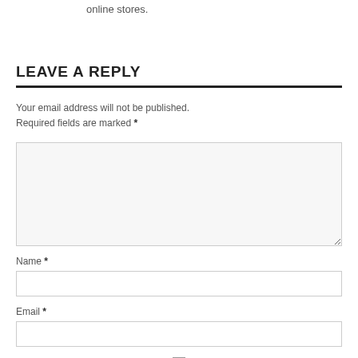online stores.
LEAVE A REPLY
Your email address will not be published. Required fields are marked *
[comment textarea]
Name *
[name input]
Email *
[email input]
Save my name, email, and website in this browser for the next time I comment.